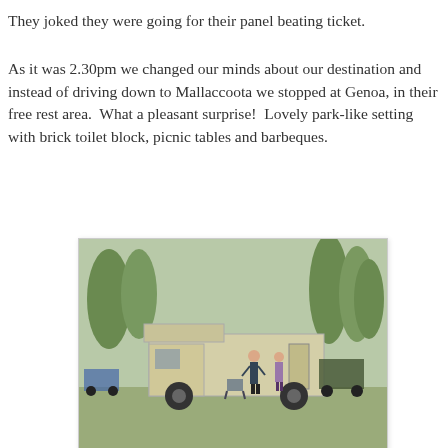They joked they were going for their panel beating ticket.
As it was 2.30pm we changed our minds about our destination and instead of driving down to Mallaccoota we stopped at Genoa, in their free rest area.  What a pleasant surprise!  Lovely park-like setting with brick toilet block, picnic tables and barbeques.
[Figure (photo): A campervan/motorhome built on a small truck chassis parked on grass, with two people standing beside it. A vehicle with a trailer is visible in the background. Trees line the background.]
[Figure (photo): Interior view of an old vehicle (likely a Jeep or similar) showing stripped interior with white seat, steering wheel, and mechanical components visible.]